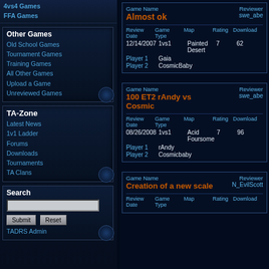4vs4 Games
FFA Games
Other Games
Old School Games
Tournament Games
Training Games
All Other Games
Upload a Game
Unreviewed Games
TA-Zone
Latest News
1v1 Ladder
Forums
Downloads
Tournaments
TA Clans
Search
TADRS Admin
| Game Name | Reviewer |
| --- | --- |
| Almost ok | swe_abe |
| Review Date | Game Type | Map | Rating | Downloads |
| 12/14/2007 | 1vs1 | Painted Desert | 7 | 62 |
| Player 1 | Gaia |
| Player 2 | CosmicBaby |
| Game Name | Reviewer |
| --- | --- |
| 100 ET2 rAndy vs Cosmic | swe_abe |
| Review Date | Game Type | Map | Rating | Downloads |
| 08/26/2008 | 1vs1 | Acid Foursome | 7 | 96 |
| Player 1 | rAndy |
| Player 2 | Cosmicbaby |
| Game Name | Reviewer |
| --- | --- |
| Creation of a new scale | N_EvilScott |
| Review Date | Game Type | Map | Rating | Downloads |